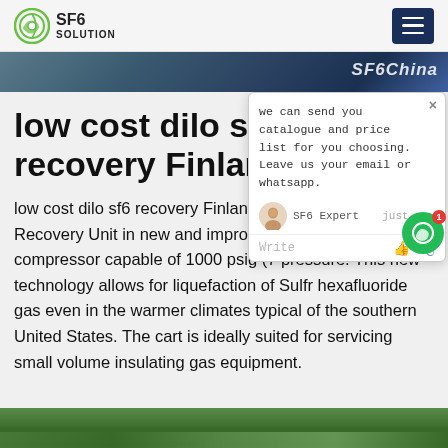SF6 SOLUTION
[Figure (screenshot): Hero banner image strip showing SF6 equipment with text 'SF6China']
low cost dilo sf6 recovery Finland
low cost dilo sf6 recovery Finland,E... latest sf6 gas Gas Recovery Unit in... new and improved high pressu... compressor capable of 1000 psig (7... pressure. This new technology allows for liquefaction of Sulfr hexafluoride gas even in the warmer climates typical of the southern United States. The cart is ideally suited for servicing small volume insulating gas equipment.
[Figure (screenshot): Chat popup overlay with message: 'we can send you catalogue and price list for you choosing. Leave us your email or whatsapp.' with SF6 Expert agent shown as 'just now']
[Figure (photo): Bottom image strip showing trees and blue sky]